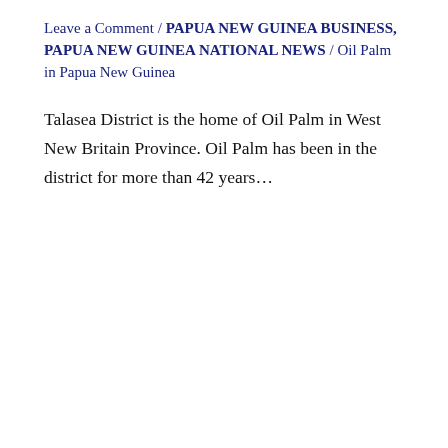Leave a Comment / PAPUA NEW GUINEA BUSINESS, PAPUA NEW GUINEA NATIONAL NEWS / Oil Palm in Papua New Guinea
Talasea District is the home of Oil Palm in West New Britain Province. Oil Palm has been in the district for more than 42 years...